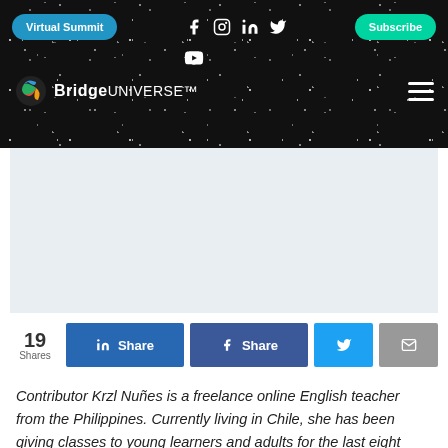[Figure (screenshot): BridgeUniverse website header with dark starry background, Virtual Summit button, social media icons (Facebook, Instagram, LinkedIn, Twitter, YouTube), Subscribe button, BridgeUniverse logo, and hamburger menu]
[Figure (other): Advertisement or image placeholder area with light gray background]
19 Shares | Share (LinkedIn) | Share (Facebook) | Twitter share | Email share
Contributor Krzl Nuñes is a freelance online English teacher from the Philippines. Currently living in Chile, she has been giving classes to young learners and adults for the last eight